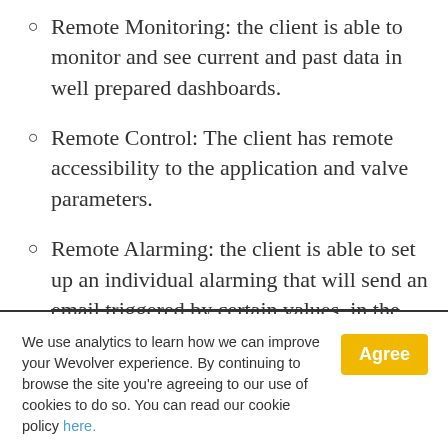Remote Monitoring: the client is able to monitor and see current and past data in well prepared dashboards.
Remote Control: The client has remote accessibility to the application and valve parameters.
Remote Alarming: the client is able to set up an individual alarming that will send an email triggered by certain values, in the
We use analytics to learn how we can improve your Wevolver experience. By continuing to browse the site you're agreeing to our use of cookies to do so. You can read our cookie policy here.